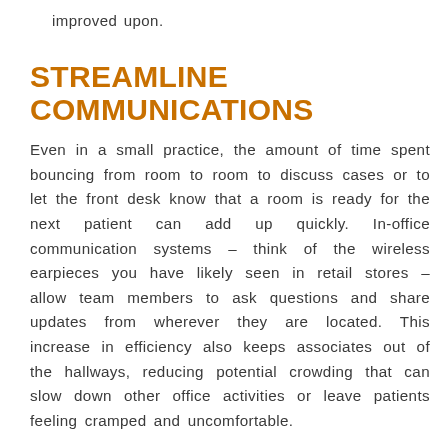improved upon.
STREAMLINE COMMUNICATIONS
Even in a small practice, the amount of time spent bouncing from room to room to discuss cases or to let the front desk know that a room is ready for the next patient can add up quickly. In-office communication systems – think of the wireless earpieces you have likely seen in retail stores – allow team members to ask questions and share updates from wherever they are located. This increase in efficiency also keeps associates out of the hallways, reducing potential crowding that can slow down other office activities or leave patients feeling cramped and uncomfortable.